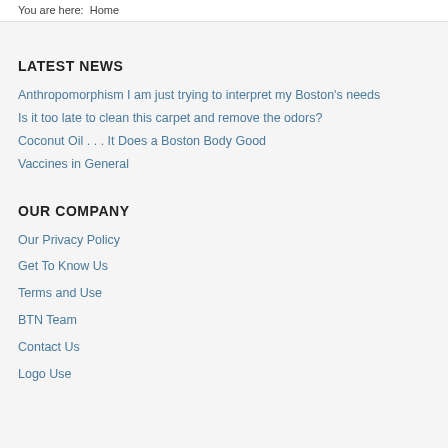You are here:  Home
LATEST NEWS
Anthropomorphism I am just trying to interpret my Boston's needs
Is it too late to clean this carpet and remove the odors?
Coconut Oil . . . It Does a Boston Body Good
Vaccines in General
OUR COMPANY
Our Privacy Policy
Get To Know Us
Terms and Use
BTN Team
Contact Us
Logo Use